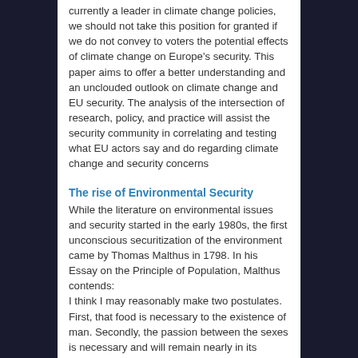currently a leader in climate change policies, we should not take this position for granted if we do not convey to voters the potential effects of climate change on Europe's security. This paper aims to offer a better understanding and an unclouded outlook on climate change and EU security. The analysis of the intersection of research, policy, and practice will assist the security community in correlating and testing what EU actors say and do regarding climate change and security concerns
The rise of Environmental Security
While the literature on environmental issues and security started in the early 1980s, the first unconscious securitization of the environment came by Thomas Malthus in 1798. In his Essay on the Principle of Population, Malthus contends: I think I may reasonably make two postulates. First, that food is necessary to the existence of man. Secondly, the passion between the sexes is necessary and will remain nearly in its present state. Assuming then my postulate as granted, I say, that the power of population is indefinitely more significant than the power in the earth to produce subsistence for man. Population, when